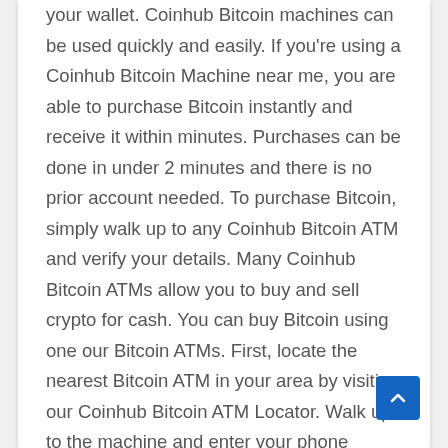your wallet. Coinhub Bitcoin machines can be used quickly and easily. If you're using a Coinhub Bitcoin Machine near me, you are able to purchase Bitcoin instantly and receive it within minutes. Purchases can be done in under 2 minutes and there is no prior account needed. To purchase Bitcoin, simply walk up to any Coinhub Bitcoin ATM and verify your details. Many Coinhub Bitcoin ATMs allow you to buy and sell crypto for cash. You can buy Bitcoin using one our Bitcoin ATMs. First, locate the nearest Bitcoin ATM in your area by visiting our Coinhub Bitcoin ATM Locator. Walk up to the machine and enter your phone number. You will then verify your phone with a code and scan your bitcoin wallet. Enter each bill one at a time to determine the amount you wish to purchase. After that, confirm the purchase by entering the bitcoin atm. Bitcoin is then instantly sent to your wallet. The daily buying limit is $25,000. There are Bitcoin Machines